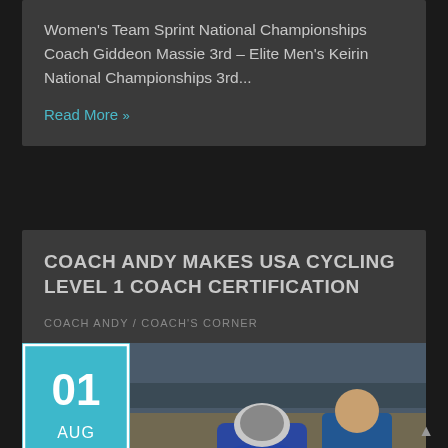Women's Team Sprint National Championships  Coach Giddeon Massie 3rd – Elite Men's Keirin National Championships 3rd...
Read More »
COACH ANDY MAKES USA CYCLING LEVEL 1 COACH CERTIFICATION
COACH ANDY / COACH'S CORNER
[Figure (photo): Date badge showing 01 AUG 2018 in teal/cyan color on the left, and a photo of a cycling coach in a blue polo shirt assisting a cyclist in a blue aerodynamic suit and helmet at an indoor velodrome]